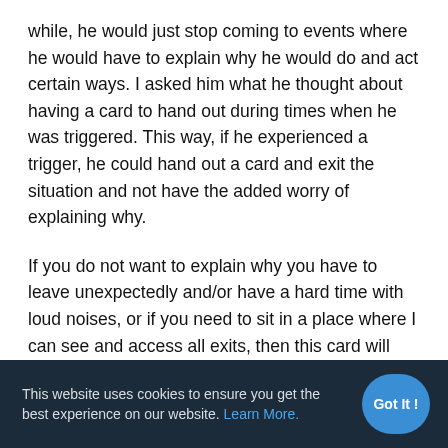while, he would just stop coming to events where he would have to explain why he would do and act certain ways. I asked him what he thought about having a card to hand out during times when he was triggered. This way, if he experienced a trigger, he could hand out a card and exit the situation and not have the added worry of explaining why.
If you do not want to explain why you have to leave unexpectedly and/or have a hard time with loud noises, or if you need to sit in a place where I can see and access all exits, then this card will provide an quick and simple solution.
This website uses cookies to ensure you get the best experience on our website. Learn More.